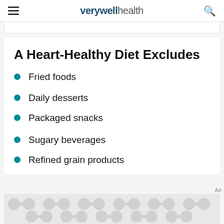verywell health
A Heart-Healthy Diet Excludes
Fried foods
Daily desserts
Packaged snacks
Sugary beverages
Refined grain products
[Figure (other): Advertisement banner with decorative circular pattern in gray tones]